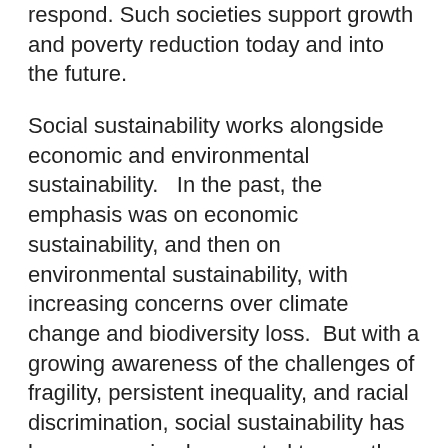respond. Such societies support growth and poverty reduction today and into the future.
Social sustainability works alongside economic and environmental sustainability.   In the past, the emphasis was on economic sustainability, and then on environmental sustainability, with increasing concerns over climate change and biodiversity loss.  But with a growing awareness of the challenges of fragility, persistent inequality, and racial discrimination, social sustainability has been recognized as central to growth and poverty reduction.
The SSI GP helps marginalized and vulnerable people overcome obstacles that prevent them from fully participating in society and supports